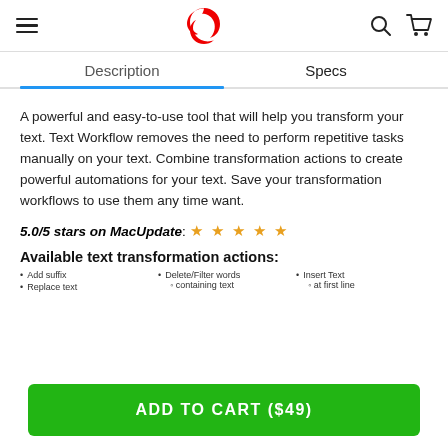Navigation header with hamburger menu, logo, search and cart icons
Description | Specs
A powerful and easy-to-use tool that will help you transform your text. Text Workflow removes the need to perform repetitive tasks manually on your text. Combine transformation actions to create powerful automations for your text. Save your transformation workflows to use them any time want.
5.0/5 stars on MacUpdate: ★ ★ ★ ★ ★
Available text transformation actions:
Add suffix
Replace text
Delete/Filter words containing text
Insert Text at first line
ADD TO CART ($49)